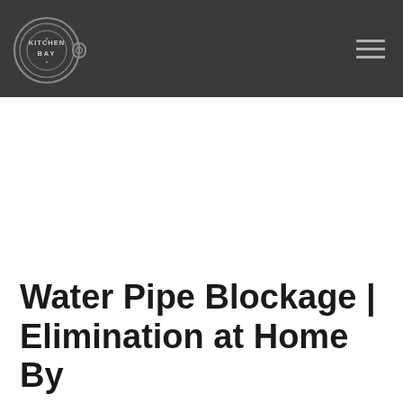[Figure (logo): Kitchen Bay logo: circular cutting board shape with text 'KITCHEN BAY' in the center, surrounded by decorative text around the rim, dark gray on dark background]
Water Pipe Blockage | Elimination at Home By